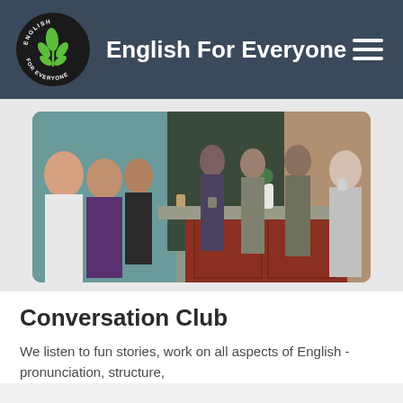English For Everyone
[Figure (photo): Group of people standing and sitting around a large kitchen island in a modern office/community space. Several women on the left side, several men in the background, and a woman in a grey hoodie on the right holding a mug.]
Conversation Club
We listen to fun stories, work on all aspects of English - pronunciation, structure,